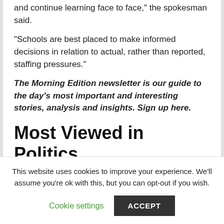and continue learning face to face," the spokesman said.
"Schools are best placed to make informed decisions in relation to actual, rather than reported, staffing pressures."
The Morning Edition newsletter is our guide to the day's most important and interesting stories, analysis and insights. Sign up here.
Most Viewed in Politics
From our partners
This website uses cookies to improve your experience. We'll assume you're ok with this, but you can opt-out if you wish.